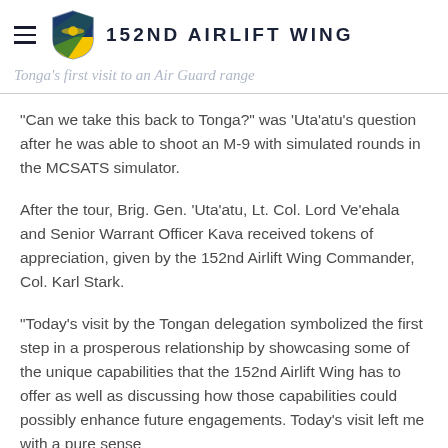152ND AIRLIFT WING
"Can we take this back to Tonga?" was 'Uta'atu's question after he was able to shoot an M-9 with simulated rounds in the MCSATS simulator.
After the tour, Brig. Gen. 'Uta'atu, Lt. Col. Lord Ve'ehala and Senior Warrant Officer Kava received tokens of appreciation, given by the 152nd Airlift Wing Commander, Col. Karl Stark.
"Today's visit by the Tongan delegation symbolized the first step in a prosperous relationship by showcasing some of the unique capabilities that the 152nd Airlift Wing has to offer as well as discussing how those capabilities could possibly enhance future engagements. Today's visit left me with a pure sense